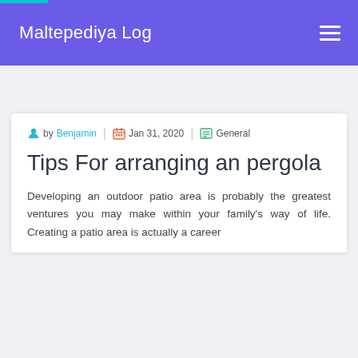Maltepediya Log
by Benjamin | Jan 31, 2020 | General
Tips For arranging an pergola
Developing an outdoor patio area is probably the greatest ventures you may make within your family's way of life. Creating a patio area is actually a career